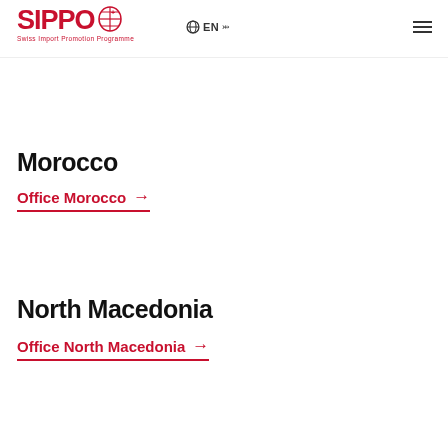SIPPO Swiss Import Promotion Programme | EN | menu
Morocco
Office Morocco →
North Macedonia
Office North Macedonia →